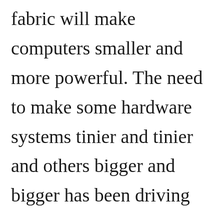fabric will make computers smaller and more powerful. The need to make some hardware systems tinier and tinier and others bigger and bigger has been driving